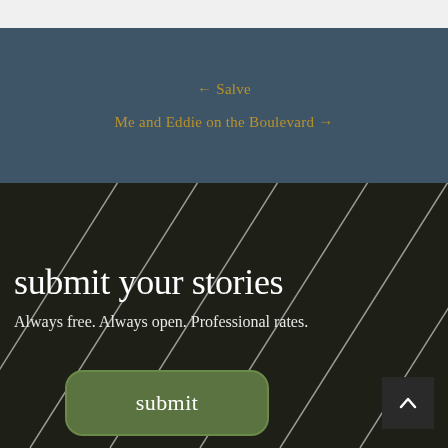← Salve
Me and Eddie on the Boulevard →
submit your stories
Always free. Always open. Professional rates.
submit
[Figure (illustration): Scroll-to-top arrow button, dark background with upward chevron icon]